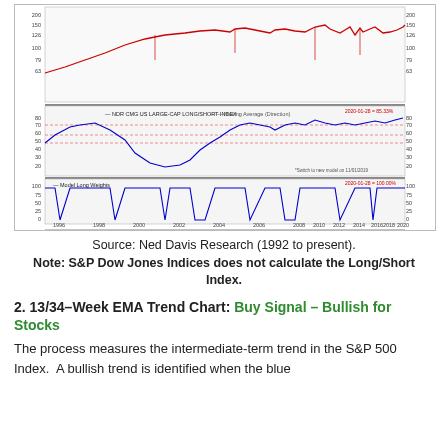[Figure (continuous-plot): Ned Davis Research CMG US Large-Cap Long/Short Index chart showing price history from 1996 to 2020, with model long weights below, moving average direction indicator, and a performance statistics table at the bottom. NDR logo visible. Latest values: 2020-01-28 = 85.33% and 100.00%.]
Source: Ned Davis Research (1992 to present).
Note: S&P Dow Jones Indices does not calculate the Long/Short Index.
2. 13/34-Week EMA Trend Chart: Buy Signal – Bullish for Stocks
The process measures the intermediate-term trend in the S&P 500 Index.  A bullish trend is identified when the blue